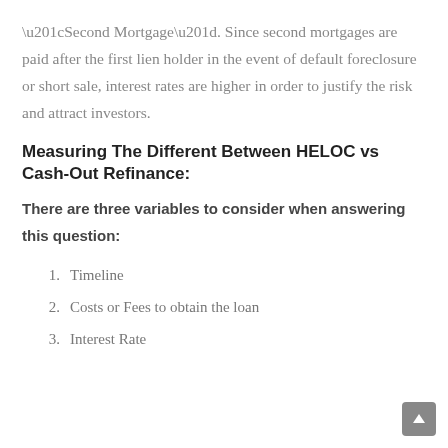“Second Mortgage”. Since second mortgages are paid after the first lien holder in the event of default foreclosure or short sale, interest rates are higher in order to justify the risk and attract investors.
Measuring The Different Between HELOC vs Cash-Out Refinance:
There are three variables to consider when answering this question:
Timeline
Costs or Fees to obtain the loan
Interest Rate